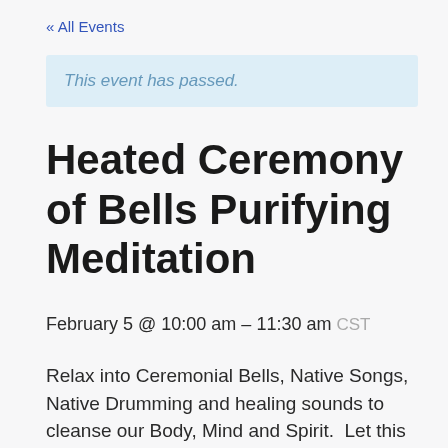« All Events
This event has passed.
Heated Ceremony of Bells Purifying Meditation
February 5 @ 10:00 am – 11:30 am CST
Relax into Ceremonial Bells, Native Songs, Native Drumming and healing sounds to cleanse our Body, Mind and Spirit.  Let this year be the year for cleansing our stress and our new journey.